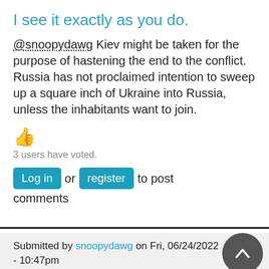I see it exactly as you do.
@snoopydawg Kiev might be taken for the purpose of hastening the end to the conflict. Russia has not proclaimed intention to sweep up a square inch of Ukraine into Russia, unless the inhabitants want to join.
👍
3 users have voted.
Log in or register to post comments
Submitted by snoopydawg on Fri, 06/24/2022 - 10:47pm